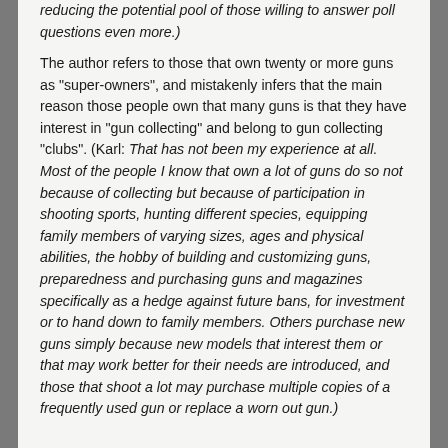reducing the potential pool of those willing to answer poll questions even more.)
The author refers to those that own twenty or more guns as "super-owners", and mistakenly infers that the main reason those people own that many guns is that they have interest in "gun collecting" and belong to gun collecting "clubs". (Karl: That has not been my experience at all. Most of the people I know that own a lot of guns do so not because of collecting but because of participation in shooting sports, hunting different species, equipping family members of varying sizes, ages and physical abilities, the hobby of building and customizing guns, preparedness and purchasing guns and magazines specifically as a hedge against future bans, for investment or to hand down to family members. Others purchase new guns simply because new models that interest them or that may work better for their needs are introduced, and those that shoot a lot may purchase multiple copies of a frequently used gun or replace a worn out gun.)